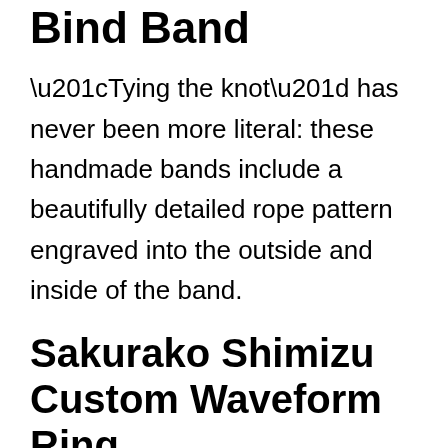Bind Band
“Tying the knot” has never been more literal: these handmade bands include a beautifully detailed rope pattern engraved into the outside and inside of the band.
Sakurako Shimizu Custom Waveform Ring
The Japanese artist and designer Sakurako Shimizu has created something that immortalizes the words of a marital commitment between two people in love: the Custom Waveform Rings. Couples record themselves taking their vows, and Shimizu